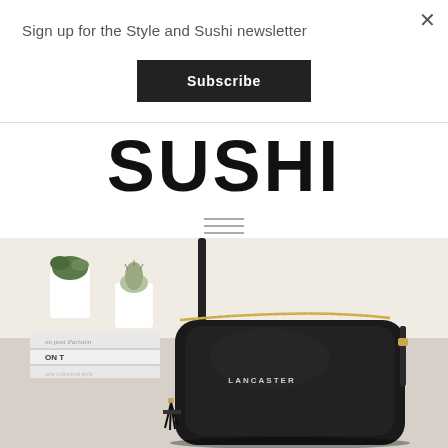Sign up for the Style and Sushi newsletter
Subscribe
SUSHI
[Figure (photo): A black Lancaster branded crossbody bag with gold zipper and tassel, photographed against a light background with small potted cacti and succulent plants, and a magazine or book in the background showing text including 'ON TO...']